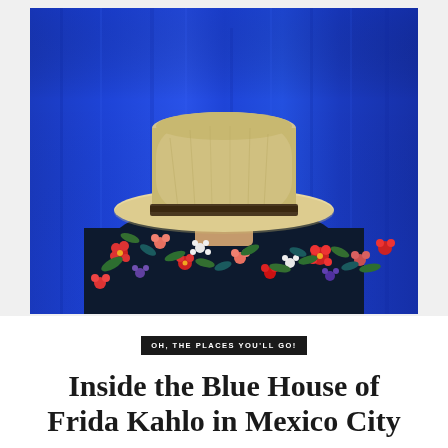[Figure (photo): Person seen from behind wearing a straw/tan fedora hat and a dark floral shirt with red, pink, white and orange flowers and green leaves, standing against a vivid cobalt/royal blue textured wall.]
OH, THE PLACES YOU'LL GO!
Inside the Blue House of Frida Kahlo in Mexico City